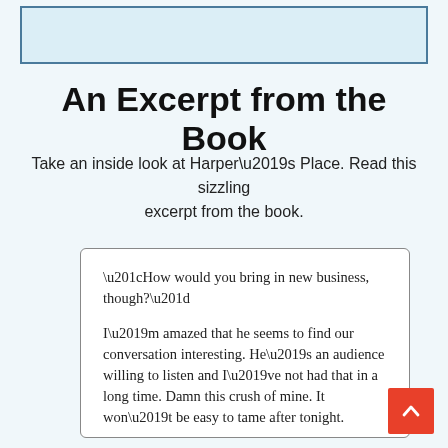[Figure (other): Light blue rectangular box with dark blue border at the top of the page]
An Excerpt from the Book
Take an inside look at Harper's Place. Read this sizzling excerpt from the book.
“How would you bring in new business, though?”

I’m amazed that he seems to find our conversation interesting. He’s an audience willing to listen and I’ve not had that in a long time. Damn this crush of mine. It won’t be easy to tame after tonight.